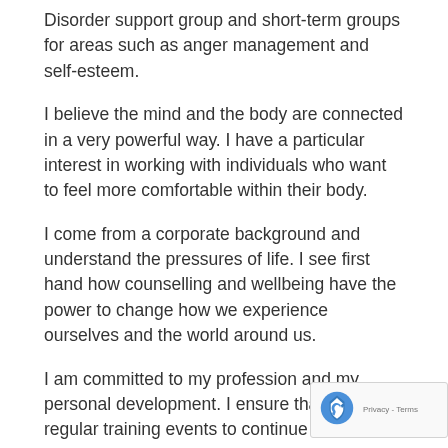Disorder support group and short-term groups for areas such as anger management and self-esteem.
I believe the mind and the body are connected in a very powerful way. I have a particular interest in working with individuals who want to feel more comfortable within their body.
I come from a corporate background and understand the pressures of life. I see first hand how counselling and wellbeing have the power to change how we experience ourselves and the world around us.
I am committed to my profession and my personal development. I ensure that I attend regular training events to continue to broaden my knowledge in my field.
I believe that finding the right therapist is fundamental to your counselling process. Therefore should you have any questions or queries before we